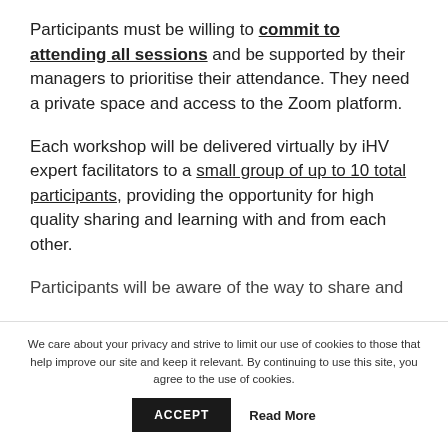Participants must be willing to commit to attending all sessions and be supported by their managers to prioritise their attendance. They need a private space and access to the Zoom platform.
Each workshop will be delivered virtually by iHV expert facilitators to a small group of up to 10 total participants, providing the opportunity for high quality sharing and learning with and from each other.
(partial line cut off)
We care about your privacy and strive to limit our use of cookies to those that help improve our site and keep it relevant. By continuing to use this site, you agree to the use of cookies.
ACCEPT | Read More